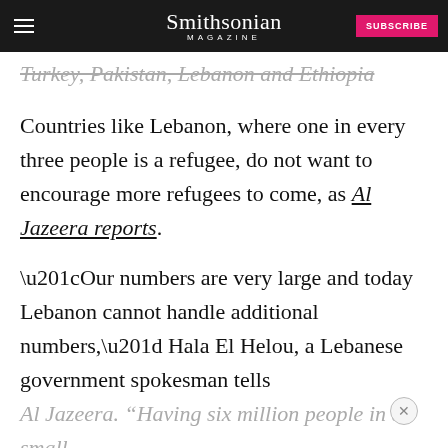Smithsonian MAGAZINE
Turkey, Pakistan, Lebanon and Ethiopia
Countries like Lebanon, where one in every three people is a refugee, do not want to encourage more refugees to come, as Al Jazeera reports.
“Our numbers are very large and today Lebanon cannot handle additional numbers,” Hala El Helou, a Lebanese government spokesman tells
Al Jazeera. “Having six million people in a small
[Figure (screenshot): Quaker advertisement banner: YOU COULD WIN A MUSEUM FIELD TRIP TO D.C. LEARN MORE]